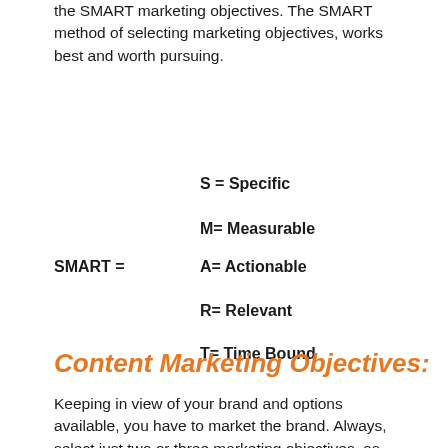the SMART marketing objectives. The SMART method of selecting marketing objectives, works best and worth pursuing.
S = Specific
M= Measurable
SMART =    A= Actionable
R= Relevant
T= Time Bound
Content Marketing Objectives:
Keeping in view of your brand and options available, you have to market the brand. Always, select just two or three marketing objectives, as, setting too many